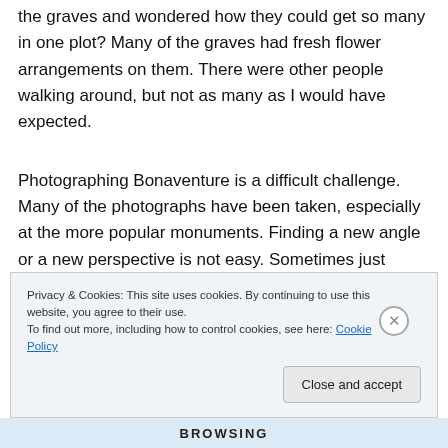the graves and wondered how they could get so many in one plot?  Many of the graves had fresh flower arrangements on them.  There were other people walking around, but not as many as I would have expected.
Photographing Bonaventure is a difficult challenge.  Many of the photographs have been taken, especially at the more popular monuments.  Finding a new angle or a new perspective is not easy.  Sometimes just being able to
Privacy & Cookies: This site uses cookies. By continuing to use this website, you agree to their use.
To find out more, including how to control cookies, see here: Cookie Policy
Close and accept